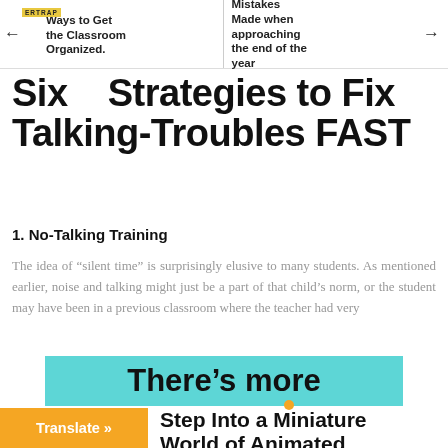Ways to Get the Classroom Organized. | Mistakes Made when approaching the end of the year
Six Strategies to Fix Talking-Troubles FAST
1. No-Talking Training
The idea of “silent time” is surprisingly elusive to many students. As mentioned earlier, noise and talking might just be a part of that child’s norm, or the student may have been in a previous classroom where the teacher had very
There’s more
Step Into a Miniature World of Animated